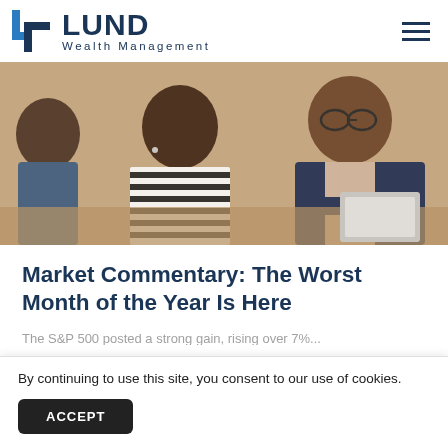LUND Wealth Management
[Figure (photo): Three people in a business meeting around a table — a man in a blue suit with glasses pointing at a laptop, a woman in a striped shirt, and another man partially visible on the left.]
Market Commentary: The Worst Month of the Year Is Here
By continuing to use this site, you consent to our use of cookies.
ACCEPT